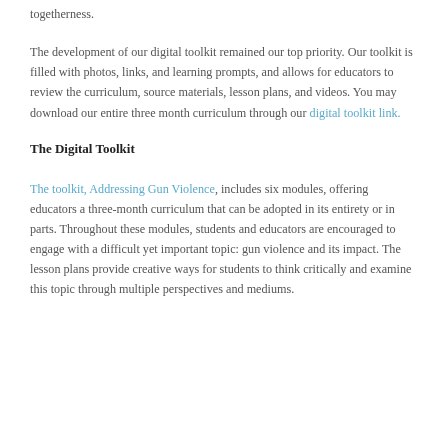togetherness.
The development of our digital toolkit remained our top priority. Our toolkit is filled with photos, links, and learning prompts, and allows for educators to review the curriculum, source materials, lesson plans, and videos. You may download our entire three month curriculum through our digital toolkit link.
The Digital Toolkit
The toolkit, Addressing Gun Violence, includes six modules, offering educators a three-month curriculum that can be adopted in its entirety or in parts. Throughout these modules, students and educators are encouraged to engage with a difficult yet important topic: gun violence and its impact. The lesson plans provide creative ways for students to think critically and examine this topic through multiple perspectives and mediums.